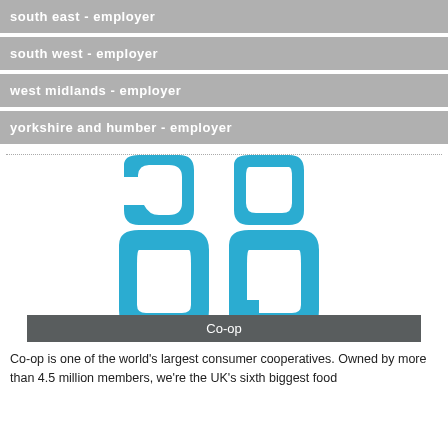south east - employer
south west - employer
west midlands - employer
yorkshire and humber - employer
[Figure (logo): Co-op logo: two interlocking curved shapes forming the letters 'co op' in teal/blue on white background, with a dark grey banner below reading 'Co-op']
Co-op
Co-op is one of the world's largest consumer cooperatives. Owned by more than 4.5 million members, we're the UK's sixth biggest food